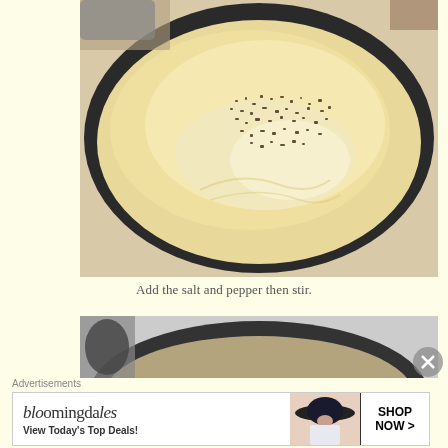[Figure (photo): Overhead view of a large metal skillet/pan containing a creamy white liquid sauce with ground pepper/spices sprinkled on top, viewed from above on a light surface.]
Add the salt and pepper then stir.
[Figure (photo): Partial overhead view of a dark pan with contents visible at the bottom edge of the frame.]
Advertisements
[Figure (other): Bloomingdale's advertisement banner reading 'bloomingdales View Today's Top Deals!' with a woman in a wide-brim hat and 'SHOP NOW >' button.]